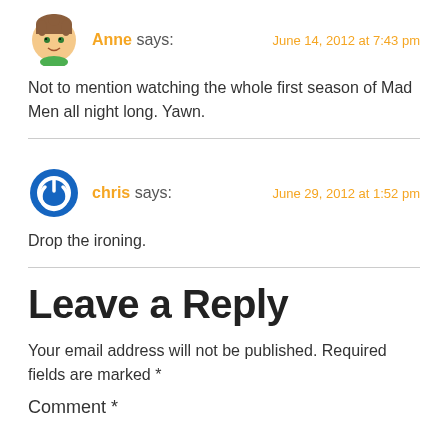Anne says: June 14, 2012 at 7:43 pm
Not to mention watching the whole first season of Mad Men all night long. Yawn.
chris says: June 29, 2012 at 1:52 pm
Drop the ironing.
Leave a Reply
Your email address will not be published. Required fields are marked *
Comment *